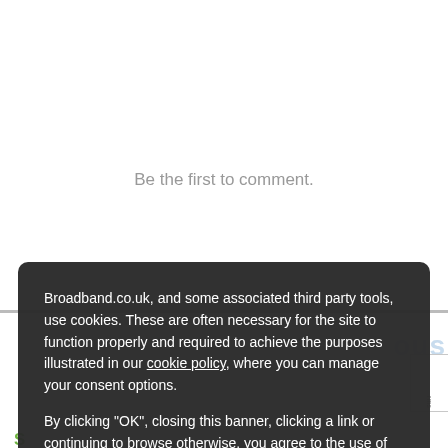Be the first to comment.
Broadband.co.uk, and some associated third party tools, use cookies. These are often necessary for the site to function properly and required to achieve the purposes illustrated in our cookie policy, where you can manage your consent options.
By clicking "OK", closing this banner, clicking a link or continuing to browse otherwise, you agree to the use of cookies.
Read our privacy policy
OK